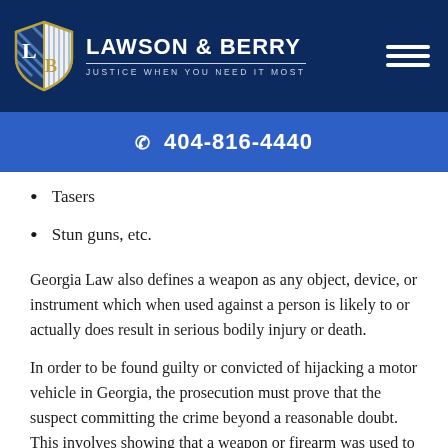LAWSON & BERRY — JUSTICE WHEN YOU NEED IT MOST
☎ 404-816-4440
Tasers
Stun guns, etc.
Georgia Law also defines a weapon as any object, device, or instrument which when used against a person is likely to or actually does result in serious bodily injury or death.
In order to be found guilty or convicted of hijacking a motor vehicle in Georgia, the prosecution must prove that the suspect committing the crime beyond a reasonable doubt. This involves showing that a weapon or firearm was used to intimidate or force someone to give up possession of a vehicle. Also, it could include providing the suspect